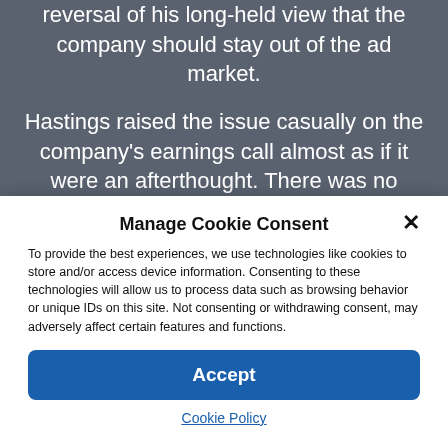reversal of his long-held view that the company should stay out of the ad market.

Hastings raised the issue casually on the company's earnings call almost as if it were an afterthought. There was no mention of the monumental change in
Manage Cookie Consent
To provide the best experiences, we use technologies like cookies to store and/or access device information. Consenting to these technologies will allow us to process data such as browsing behavior or unique IDs on this site. Not consenting or withdrawing consent, may adversely affect certain features and functions.
Accept
Cookie Policy